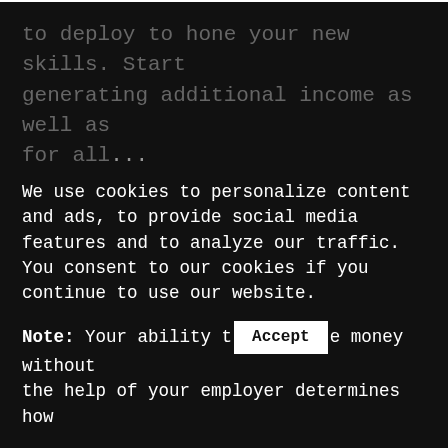America, you've probably seen the desperate act of the aging professional. Developing skills for a lifetime earning your best chance of not being part of the statistics.
Develop skills independent from your professional job that will enable you to earn money independently as a freelancer or a business owner. Don't wait until desperation to deploy to hone your new skills. Start generating additional income as well as for all...
We use cookies to personalize content and ads, to provide social media features and to analyze our traffic. You consent to our cookies if you continue to use our website.
Note: Your ability to [Accept] money without the help of your employer determines how...